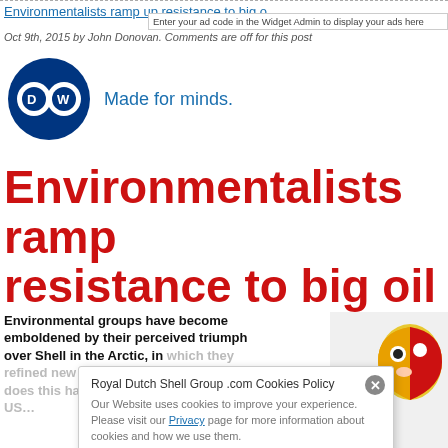Environmentalists ramp up resistance to big oil
Enter your ad code in the Widget Admin to display your ads here
Oct 9th, 2015 by John Donovan. Comments are off for this post
[Figure (logo): DW Deutsche Welle logo with text 'Made for minds.']
Environmentalists ramp resistance to big oil
Environmental groups have become emboldened by their perceived triumph over Shell in the Arctic, in which they refined new tactics. What implications does this have for the industry? DW examines the US...
[Figure (illustration): Cartoon illustration of Shell logo character]
Royal Dutch Shell Group .com Cookies Policy
Our Website uses cookies to improve your experience. Please visit our Privacy page for more information about cookies and how we use them.